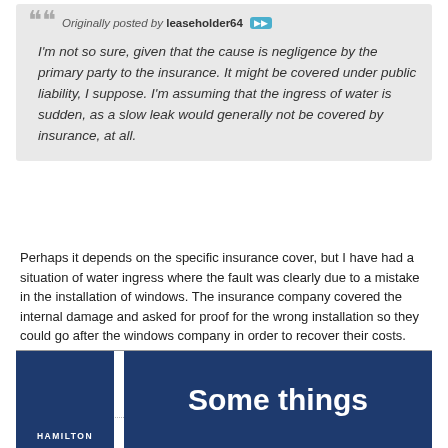Originally posted by leaseholder64
I'm not so sure, given that the cause is negligence by the primary party to the insurance. It might be covered under public liability, I suppose. I'm assuming that the ingress of water is sudden, as a slow leak would generally not be covered by insurance, at all.
Perhaps it depends on the specific insurance cover, but I have had a situation of water ingress where the fault was clearly due to a mistake in the installation of windows. The insurance company covered the internal damage and asked for proof for the wrong installation so they could go after the windows company in order to recover their costs.
[Figure (other): Pagination controls: active page button '1' in blue gradient, page button '2' in gray, and 'Next' button in gray]
[Figure (other): Advertisement banner showing Hamilton logo on dark navy blue background on the left, and 'Some things' text in white bold on dark navy blue background on the right]